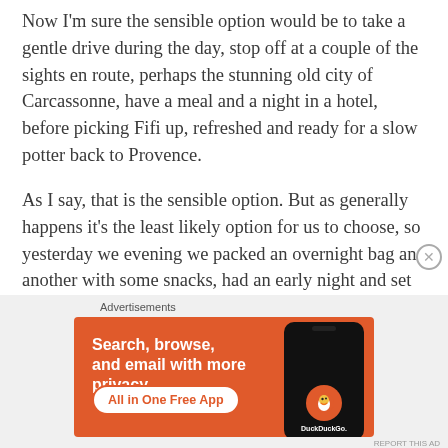Now I'm sure the sensible option would be to take a gentle drive during the day, stop off at a couple of the sights en route, perhaps the stunning old city of Carcassonne, have a meal and a night in a hotel, before picking Fifi up, refreshed and ready for a slow potter back to Provence.
As I say, that is the sensible option. But as generally happens it's the least likely option for us to choose, so yesterday we evening we packed an overnight bag and another with some snacks, had an early night and set our alarms for 2.45 this morning to start the drive
[Figure (other): DuckDuckGo advertisement banner with orange background. Text reads: 'Search, browse, and email with more privacy. All in One Free App' with DuckDuckGo logo and phone graphic.]